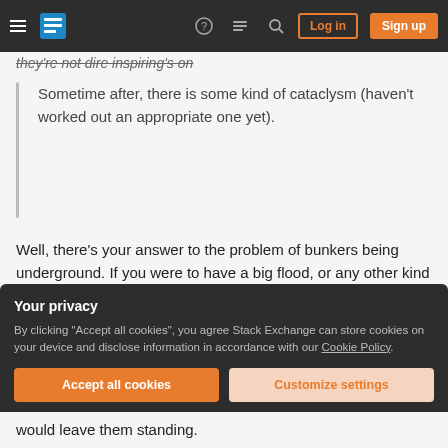Stack Exchange navigation bar with Log in and Sign up buttons
they're not dire inspiring's on
Sometime after, there is some kind of cataclysm (haven't worked out an appropriate one yet).
Well, there's your answer to the problem of bunkers being underground. If you were to have a big flood, or any other kind of environmental event that erodes away the soft soil around the bunker, then the structures would just appear.
Your privacy
By clicking "Accept all cookies", you agree Stack Exchange can store cookies on your device and disclose information in accordance with our Cookie Policy.
Accept all cookies
Customize settings
would leave them standing.